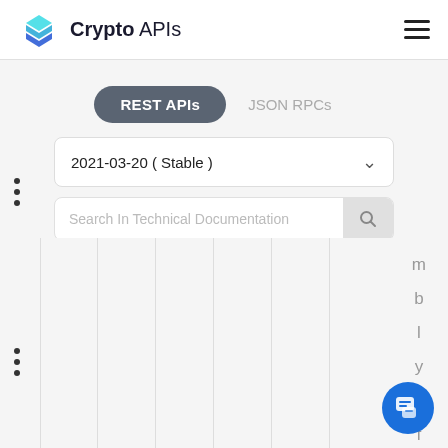[Figure (logo): Crypto APIs logo with hexagonal layered icon in blue/teal and bold text 'Crypto APIs']
Crypto APIs
REST APIs | JSON RPCs
2021-03-20 ( Stable )
Search In Technical Documentation
m b l y o f t h e s